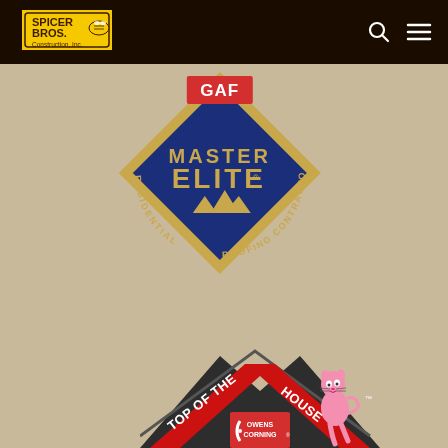[Figure (logo): Spicer Bros Construction Inc logo - yellow badge shape with brown text and a bee illustration, on dark brown navigation bar. Search icon and hamburger menu icon on the right.]
[Figure (logo): GAF Master Elite Residential Roofing Contractor badge - dark blue diamond/rhombus shape with gold border, red GAF banner at top, gold text reading MASTER ELITE with gold GAF mountain logo, curved gold text around border reading RESIDENTIAL ROOFING CONTRACTOR]
[Figure (logo): Owens Corning Top of the House badge - dark grey house/chevron shape with red banner reading TOP OF THE HOUSE with TM mark, pink panther cartoon character sitting on roof, Owens Corning logo at bottom center]